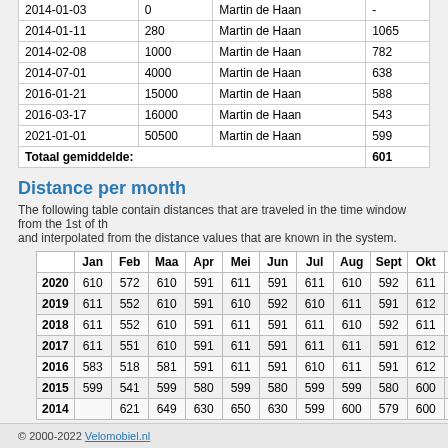| Date | Value | Owner | Avg |
| --- | --- | --- | --- |
| 2014-01-03 | 0 | Martin de Haan | - |
| 2014-01-11 | 280 | Martin de Haan | 1065 |
| 2014-02-08 | 1000 | Martin de Haan | 782 |
| 2014-07-01 | 4000 | Martin de Haan | 638 |
| 2016-01-21 | 15000 | Martin de Haan | 588 |
| 2016-03-17 | 16000 | Martin de Haan | 543 |
| 2021-01-01 | 50500 | Martin de Haan | 599 |
| Totaal gemiddelde: |  |  | 601 |
Distance per month
The following table contain distances that are traveled in the time window from the 1st of th and interpolated from the distance values that are known in the system.
|  | Jan | Feb | Maa | Apr | Mei | Jun | Jul | Aug | Sept | Okt | Nov | Dec |
| --- | --- | --- | --- | --- | --- | --- | --- | --- | --- | --- | --- | --- |
| 2020 | 610 | 572 | 610 | 591 | 611 | 591 | 611 | 610 | 592 | 611 | 591 | 611 |
| 2019 | 611 | 552 | 610 | 591 | 610 | 592 | 610 | 611 | 591 | 612 | 591 | 611 |
| 2018 | 611 | 552 | 610 | 591 | 611 | 591 | 611 | 610 | 592 | 611 | 591 | 611 |
| 2017 | 611 | 551 | 610 | 591 | 611 | 591 | 611 | 611 | 591 | 612 | 591 | 610 |
| 2016 | 583 | 518 | 581 | 591 | 611 | 591 | 610 | 611 | 591 | 612 | 591 | 611 |
| 2015 | 599 | 541 | 599 | 580 | 599 | 580 | 599 | 599 | 580 | 600 | 580 | 599 |
| 2014 |  | 621 | 649 | 630 | 650 | 630 | 599 | 600 | 579 | 600 | 580 | 600 |
Foto's
2016-03-23 - q703.jpg
© 2000-2022 Velomobiel.nl